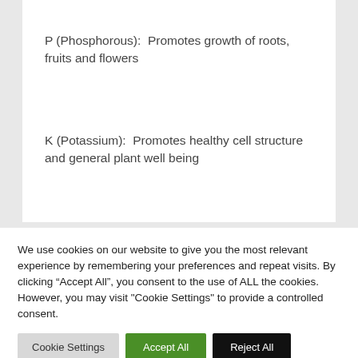P (Phosphorous):  Promotes growth of roots, fruits and flowers
K (Potassium):  Promotes healthy cell structure and general plant well being
We use cookies on our website to give you the most relevant experience by remembering your preferences and repeat visits. By clicking “Accept All”, you consent to the use of ALL the cookies. However, you may visit "Cookie Settings" to provide a controlled consent.